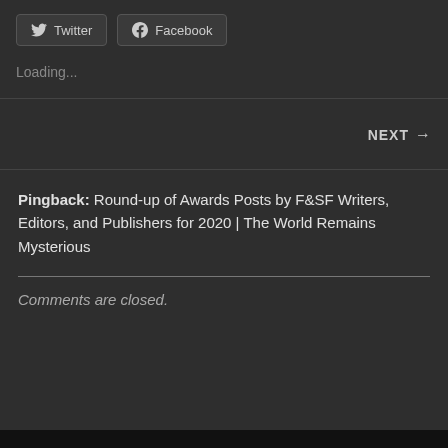[Figure (other): Twitter social share button with Twitter bird icon]
[Figure (other): Facebook social share button with Facebook logo icon]
Loading...
NEXT →
Pingback: Round-up of Awards Posts by F&SF Writers, Editors, and Publishers for 2020 | The World Remains Mysterious
Comments are closed.